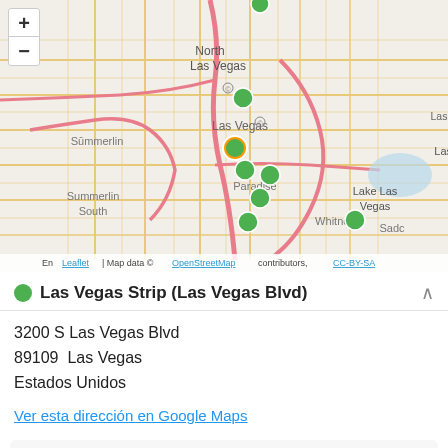[Figure (map): Interactive Leaflet map of the Las Vegas area showing multiple green location markers clustered around the Las Vegas Strip and downtown area. Visible neighborhoods include North Las Vegas, Summerlin, Summerlin South, Paradise, Whitney, Lake Las Vegas, and Sado. A zoom +/- control is shown in the top-left. Map attribution reads: Leaflet | Map data © OpenStreetMap contributors, CC-BY-SA]
Las Vegas Strip (Las Vegas Blvd)
3200 S Las Vegas Blvd
89109  Las Vegas
Estados Unidos
Ver esta dirección en Google Maps
Bus will board along the curbside near Forever 21 (north side of the Fashion Show